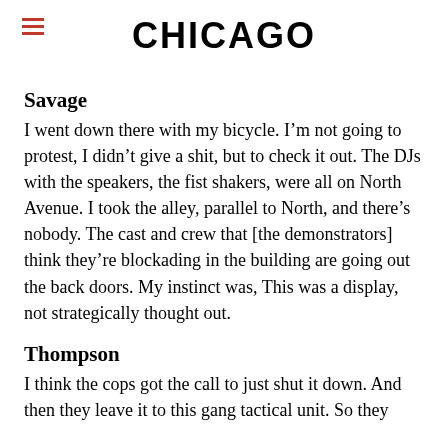CHICAGO
Savage
I went down there with my bicycle. I’m not going to protest, I didn’t give a shit, but to check it out. The DJs with the speakers, the fist shakers, were all on North Avenue. I took the alley, parallel to North, and there’s nobody. The cast and crew that [the demonstrators] think they’re blockading in the building are going out the back doors. My instinct was, This was a display, not strategically thought out.
Thompson
I think the cops got the call to just shut it down. And then they leave it to this gang tactical unit. So they could be anybody, but this is their section and...